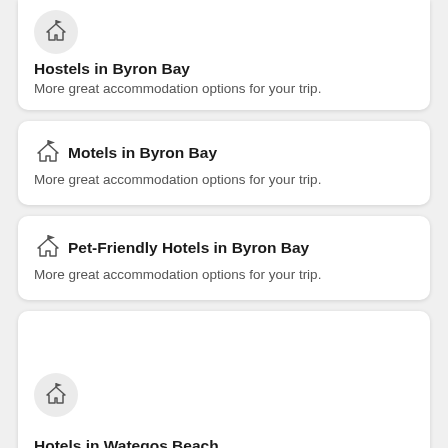[Figure (illustration): Building/hotel icon in a light gray circle]
Hostels in Byron Bay
More great accommodation options for your trip.
[Figure (illustration): Building/hotel icon inline with title]
Motels in Byron Bay
More great accommodation options for your trip.
[Figure (illustration): Building/hotel icon inline with title]
Pet-Friendly Hotels in Byron Bay
More great accommodation options for your trip.
[Figure (illustration): Building/hotel icon in a light gray circle]
Hotels in Wategos Beach